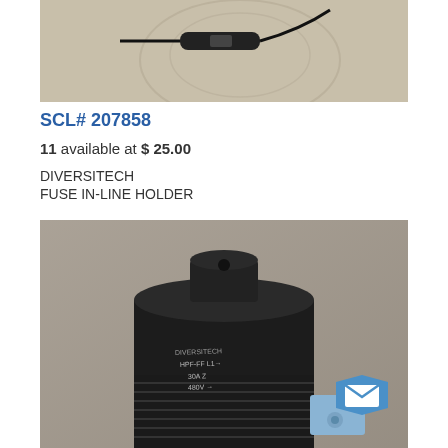[Figure (photo): Top portion of a product photo showing a fuse in-line holder component with wires on a beige background]
SCL# 207858
11 available at $ 25.00
DIVERSITECH
FUSE IN-LINE HOLDER
[Figure (photo): Close-up photo of a black cylindrical fuse in-line holder showing markings: HPF-FF, 30A, 480V, with a blue metal terminal visible at bottom right and a blue mail button overlay in the bottom right corner]